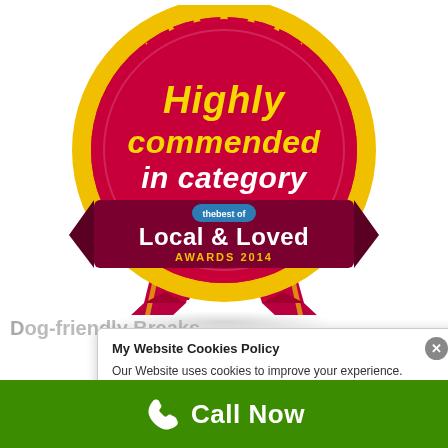[Figure (logo): Highly commended in category badge - thebest of Local & Loved Awards 2014. A circular crimson/magenta badge with serrated gold border, white and yellow text, and a dark crimson ribbon banner. Below the circle hang two crimson ribbon tails with gold trim.]
Dog-friendly Breaks
My Website Cookies Policy
Our Website uses cookies to improve your experience. Please visit our A Short History of our
Call Now